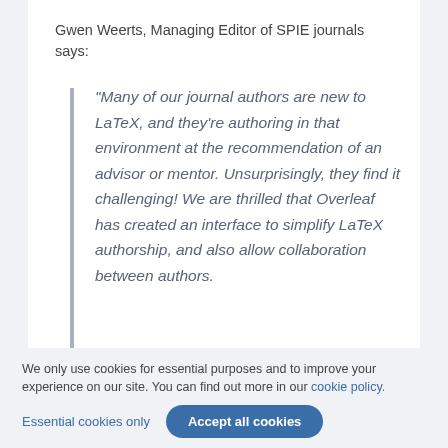Gwen Weerts, Managing Editor of SPIE journals says:
“Many of our journal authors are new to LaTeX, and they’re authoring in that environment at the recommendation of an advisor or mentor. Unsurprisingly, they find it challenging! We are thrilled that Overleaf has created an interface to simplify LaTeX authorship, and also allow collaboration between authors.
We only use cookies for essential purposes and to improve your experience on our site. You can find out more in our cookie policy.
Essential cookies only
Accept all cookies